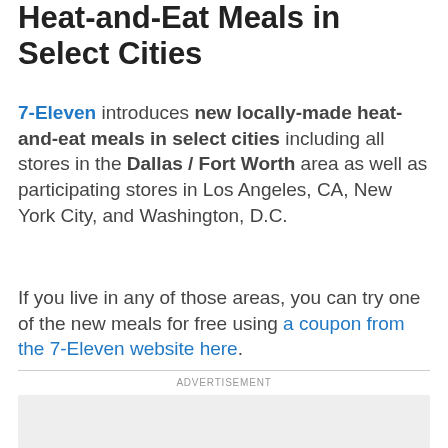Heat-and-Eat Meals in Select Cities
7-Eleven introduces new locally-made heat-and-eat meals in select cities including all stores in the Dallas / Fort Worth area as well as participating stores in Los Angeles, CA, New York City, and Washington, D.C.
If you live in any of those areas, you can try one of the new meals for free using a coupon from the 7-Eleven website here.
ADVERTISEMENT